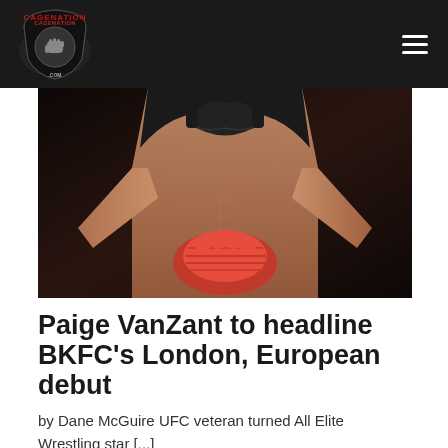CAGENATION
[Figure (photo): Close-up photo of a female fighter's torso wearing a black sports bra, hands wrapped in red boxing hand wraps, posed in a fighting stance against a dark background]
Paige VanZant to headline BKFC's London, European debut
by Dane McGuire UFC veteran turned All Elite Wrestling star [...]